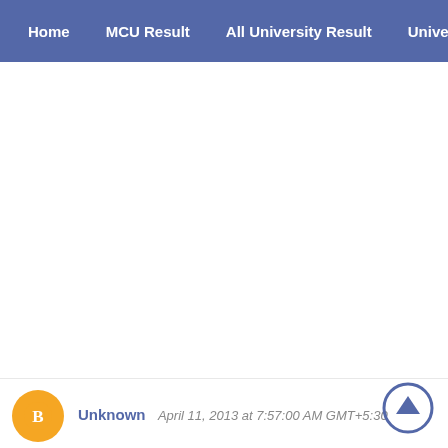Home | MCU Result | All University Result | University Time
Unknown  April 11, 2013 at 7:57:00 AM GMT+5:30